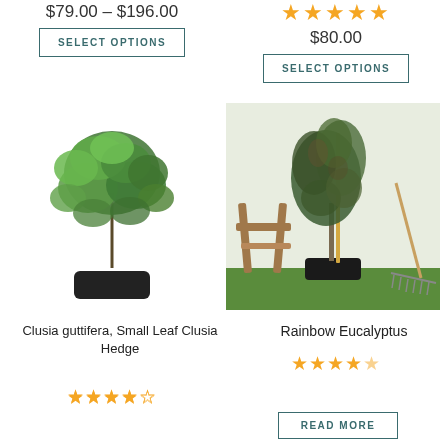$79.00 – $196.00
SELECT OPTIONS
[Figure (photo): Rating stars for right top product, 4.5 out of 5 orange stars]
$80.00
SELECT OPTIONS
[Figure (photo): Clusia guttifera small leaf clusia hedge plant in black pot on white background]
[Figure (photo): Rainbow Eucalyptus tree in black pot outdoors with wooden folding chair and rake on green grass]
Clusia guttifera, Small Leaf Clusia Hedge
Rating: 4.5 out of 5 stars
Rainbow Eucalyptus
Rating: 4.5 out of 5 stars
READ MORE